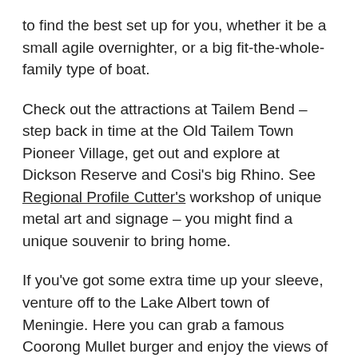to find the best set up for you, whether it be a small agile overnighter, or a big fit-the-whole-family type of boat.
Check out the attractions at Tailem Bend – step back in time at the Old Tailem Town Pioneer Village, get out and explore at Dickson Reserve and Cosi's big Rhino. See Regional Profile Cutter's workshop of unique metal art and signage – you might find a unique souvenir to bring home.
If you've got some extra time up your sleeve, venture off to the Lake Albert town of Meningie. Here you can grab a famous Coorong Mullet burger and enjoy the views of the lake, head out on the water with Coorong Wildside Tours, or have a quick bite at Freshies Café & Bar.